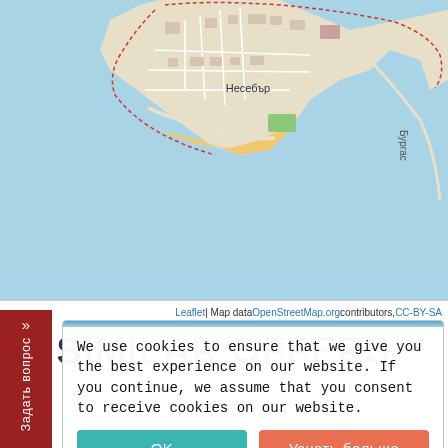[Figure (map): OpenStreetMap showing Несебър (Nessebar), Bulgaria peninsula with streets and coastline, light blue sea background]
Leaflet | Map data OpenStreetMap.org contributors, CC-BY-SA
SIMILAR OFFERS
We use cookies to ensure that we give you the best experience on our website. If you continue, we assume that you consent to receive cookies on our website.
OK
Узнать больше